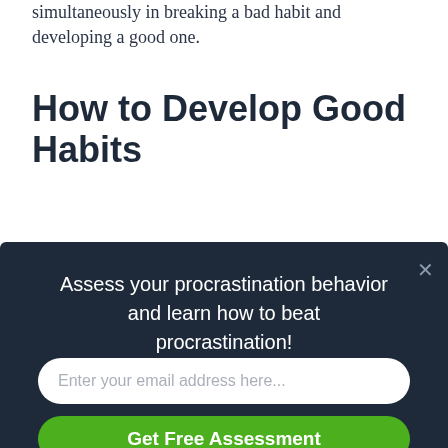simultaneously in breaking a bad habit and developing a good one.
How to Develop Good Habits
A corollary to the idea that habits are unconscious is that trying to make new habits consciously won't do much for
[Figure (screenshot): Modal popup with dark navy background. Text reads: 'Assess your procrastination behavior and learn how to beat procrastination!' with an email input field placeholder 'Enter your email address here...' and a green button labeled 'Get Free Assessment'. Close button (×) in top right.]